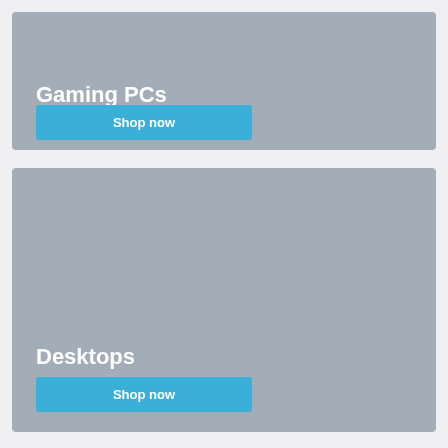[Figure (illustration): Gaming PCs promotional banner with gray placeholder background, white bold title 'Gaming PCs', and a blue 'Shop now' button]
[Figure (illustration): Desktops promotional banner with gray placeholder background, white bold title 'Desktops', and a blue 'Shop now' button]